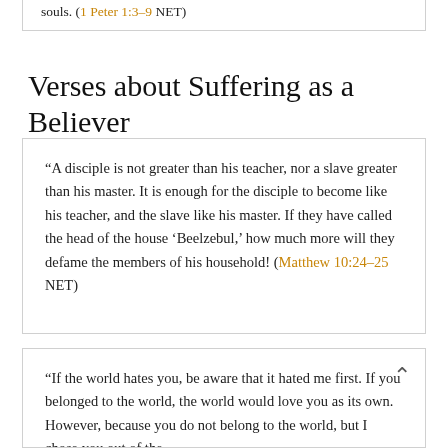souls. (1 Peter 1:3–9 NET)
Verses about Suffering as a Believer
“A disciple is not greater than his teacher, nor a slave greater than his master. It is enough for the disciple to become like his teacher, and the slave like his master. If they have called the head of the house ‘Beelzebul,’ how much more will they defame the members of his household! (Matthew 10:24–25 NET)
“If the world hates you, be aware that it hated me first. If you belonged to the world, the world would love you as its own. However, because you do not belong to the world, but I chose you out of the